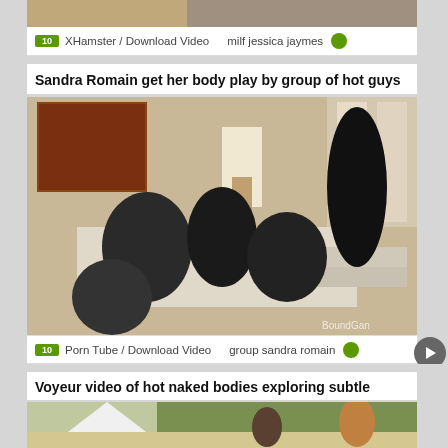[Figure (photo): Partial top thumbnail strip showing previous video]
XHamster / Download Video   milf jessica jaymes
Sandra Romain get her body play by group of hot guys
[Figure (photo): Video thumbnail showing group scene in living room with BoundGang watermark]
Porn Tube / Download Video  group sandra romain
Voyeur video of hot naked bodies exploring subtle
[Figure (photo): Partial thumbnail showing outdoor camping scene with tent and people]